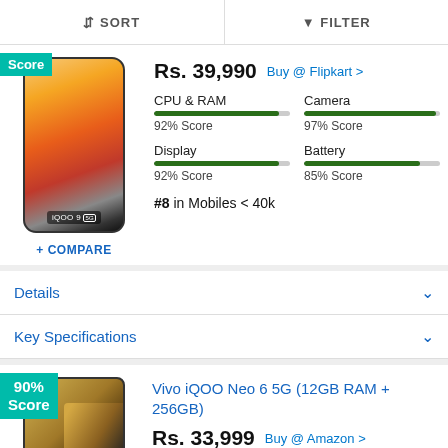SORT   FILTER
Rs. 39,990   Buy @ Flipkart >
CPU & RAM 92% Score   Camera 97% Score   Display 92% Score   Battery 85% Score
#8 in Mobiles < 40k
+ COMPARE
Details
Key Specifications
Vivo iQOO Neo 6 5G (12GB RAM + 256GB)
Rs. 33,999   Buy @ Amazon >